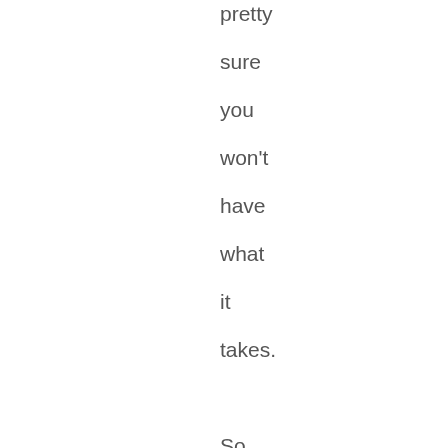pretty sure you won't have what it takes. So how on these motivationally off days can you stick to your weight loss routine?